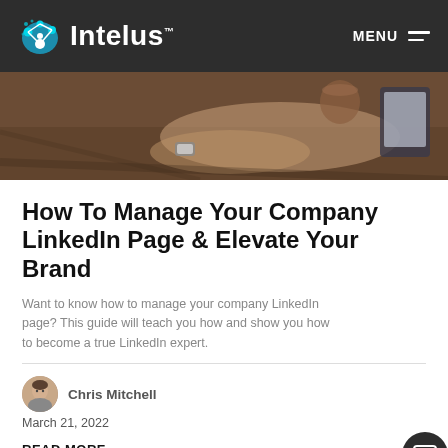Intelus  MENU
[Figure (photo): A person working at a desk with a tablet, partial view of hands and coffee cup on a wooden desk]
How To Manage Your Company LinkedIn Page & Elevate Your Brand
Want to know how to manage your company LinkedIn page? This guide will teach you how and show you how to become a true LinkedIn expert.
Chris Mitchell
March 21, 2022
READ MORE →